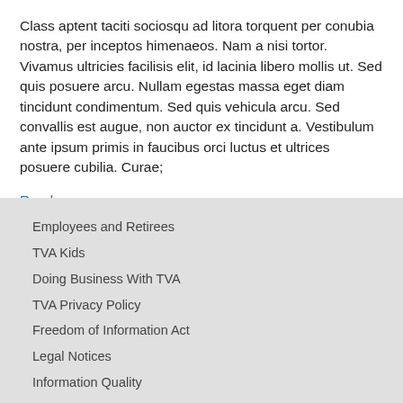Class aptent taciti sociosqu ad litora torquent per conubia nostra, per inceptos himenaeos. Nam a nisi tortor. Vivamus ultricies facilisis elit, id lacinia libero mollis ut. Sed quis posuere arcu. Nullam egestas massa eget diam tincidunt condimentum. Sed quis vehicula arcu. Sed convallis est augue, non auctor ex tincidunt a. Vestibulum ante ipsum primis in faucibus orci luctus et ultrices posuere cubilia. Curae; Vestibulum commodo. Sed bibendum
Read more
Employees and Retirees
TVA Kids
Doing Business With TVA
TVA Privacy Policy
Freedom of Information Act
Legal Notices
Information Quality